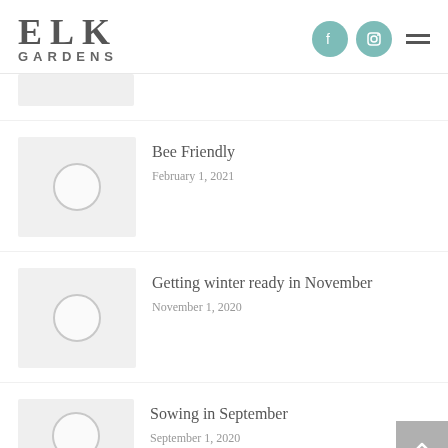ELK GARDENS
Bee Friendly — February 1, 2021
Getting winter ready in November — November 1, 2020
Sowing in September — September 1, 2020